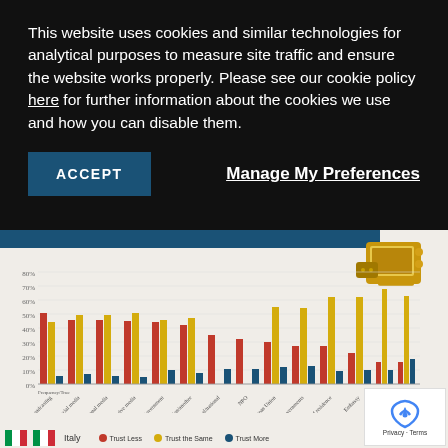This website uses cookies and similar technologies for analytical purposes to measure site traffic and ensure the website works properly. Please see our cookie policy here for further information about the cookies we use and how you can disable them.
ACCEPT
Manage My Preferences
[Figure (grouped-bar-chart): Italy]
Italy